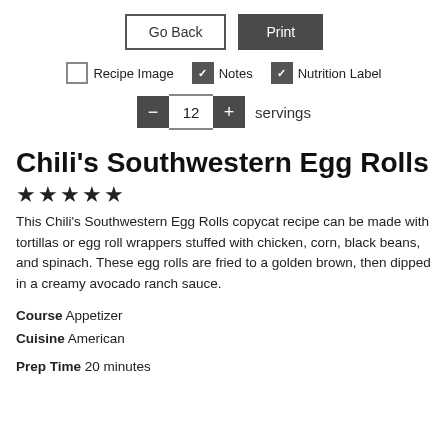[Figure (screenshot): UI controls row with 'Go Back' outlined button and 'Print' dark filled button]
[Figure (screenshot): Checkbox controls: unchecked 'Recipe Image', checked 'Notes', checked 'Nutrition Label']
[Figure (screenshot): Servings stepper showing minus button, value 12, plus button, and label 'servings']
Chili's Southwestern Egg Rolls
★★★★★
This Chili's Southwestern Egg Rolls copycat recipe can be made with tortillas or egg roll wrappers stuffed with chicken, corn, black beans, and spinach. These egg rolls are fried to a golden brown, then dipped in a creamy avocado ranch sauce.
Course  Appetizer
Cuisine  American
Prep Time  20 minutes